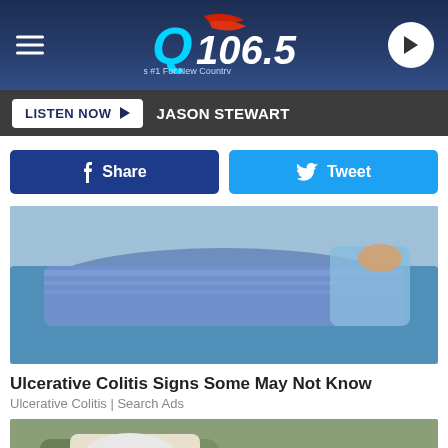Q106.5 Maine's #1 for New Country
LISTEN NOW  JASON STEWART
Share  Tweet
[Figure (photo): Person lying on a blue couch wearing jeans]
Ulcerative Colitis Signs Some May Not Know
Ulcerative Colitis | Search Ads
[Figure (photo): Elderly man with glasses sleeping in a chair]